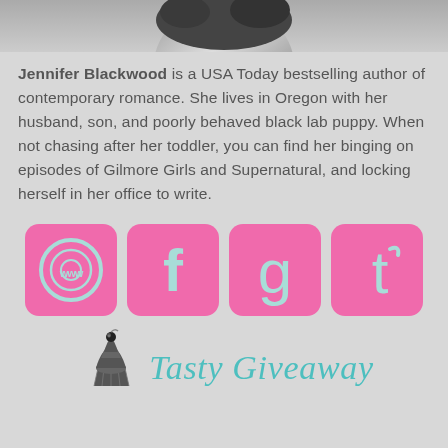[Figure (photo): Black and white partial photo of a person's head/hair at top of page]
Jennifer Blackwood is a USA Today bestselling author of contemporary romance. She lives in Oregon with her husband, son, and poorly behaved black lab puppy. When not chasing after her toddler, you can find her binging on episodes of Gilmore Girls and Supernatural, and locking herself in her office to write.
[Figure (infographic): Four pink rounded square social media icons: www (website), f (Facebook), g (Goodreads), t (Twitter)]
[Figure (logo): Tasty Giveaway logo with cupcake illustration and teal script text]